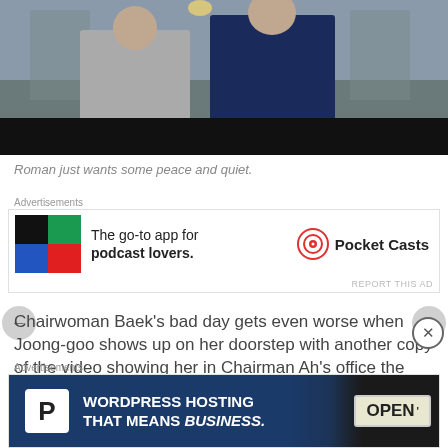[Figure (photo): Two people standing outside a building - one in a grey suit on the left, one in a dark navy suit on the right. Bottom of image has a black bar.]
Roman just wants some peace and quiet.
[Figure (infographic): Advertisement for Pocket Casts app. Shows colorful icon (black, green, blue, red quadrants) with text 'The go-to app for podcast lovers.' and Pocket Casts logo.]
Chairwoman Baek's bad day gets even worse when Joong-goo shows up on her doorstep with another copy of the video showing her in Chairman Ah's office the
[Figure (infographic): Advertisement for WordPress Hosting. Dark blue background with white 'P' icon and text 'WORDPRESS HOSTING THAT MEANS BUSINESS.' with an OPEN sign image on the right.]